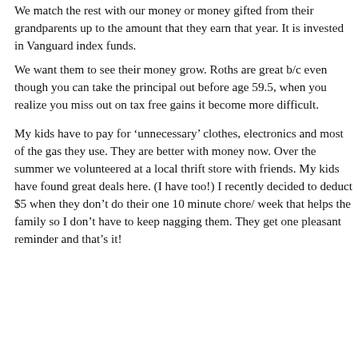We match the rest with our money or money gifted from their grandparents up to the amount that they earn that year. It is invested in Vanguard index funds. We want them to see their money grow. Roths are great b/c even though you can take the principal out before age 59.5, when you realize you miss out on tax free gains it become more difficult.
My kids have to pay for ‘unnecessary’ clothes, electronics and most of the gas they use. They are better with money now. Over the summer we volunteered at a local thrift store with friends. My kids have found great deals here. (I have too!) I recently decided to deduct $5 when they don’t do their one 10 minute chore/ week that helps the family so I don’t have to keep nagging them. They get one pleasant reminder and that’s it!